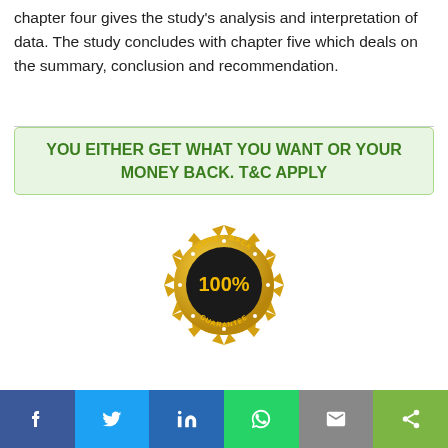chapter four gives the study's analysis and interpretation of data. The study concludes with chapter five which deals on the summary, conclusion and recommendation.
YOU EITHER GET WHAT YOU WANT OR YOUR MONEY BACK. T&C APPLY
[Figure (illustration): Gold money-back guarantee badge with '100%' text and 'MONEY BACK GUARANTEE' text around the edge]
Get Full Access To Project »
Social share bar with Facebook, Twitter, LinkedIn, WhatsApp, Email, Share buttons